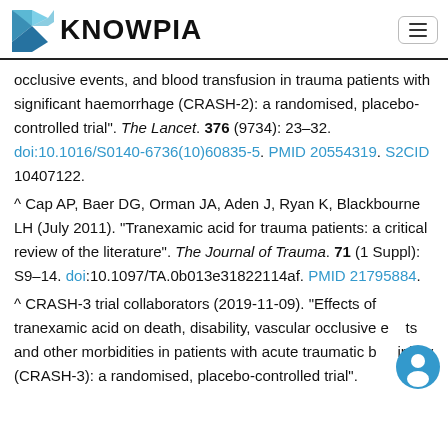KNOWPIA
occlusive events, and blood transfusion in trauma patients with significant haemorrhage (CRASH-2): a randomised, placebo-controlled trial". The Lancet. 376 (9734): 23–32. doi:10.1016/S0140-6736(10)60835-5. PMID 20554319. S2CID 10407122.
^ Cap AP, Baer DG, Orman JA, Aden J, Ryan K, Blackbourne LH (July 2011). "Tranexamic acid for trauma patients: a critical review of the literature". The Journal of Trauma. 71 (1 Suppl): S9–14. doi:10.1097/TA.0b013e31822114af. PMID 21795884.
^ CRASH-3 trial collaborators (2019-11-09). "Effects of tranexamic acid on death, disability, vascular occlusive events and other morbidities in patients with acute traumatic brain injury (CRASH-3): a randomised, placebo-controlled trial".